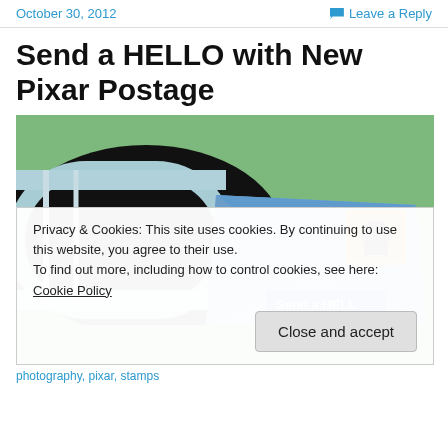October 30, 2012   Leave a Reply
Send a HELLO with New Pixar Postage
[Figure (photo): A blue envelope with a Pixar stamp leaning against an open mailbox, with green grass in the background. The envelope reads 'Send a HELLO']
Privacy & Cookies: This site uses cookies. By continuing to use this website, you agree to their use.
To find out more, including how to control cookies, see here: Cookie Policy
Close and accept